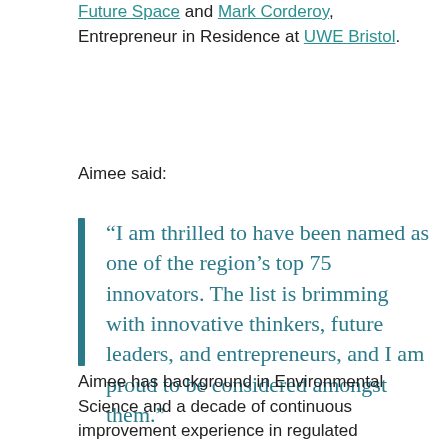Future Space and Mark Corderoy, Entrepreneur in Residence at UWE Bristol.
Aimee said:
“I am thrilled to have been named as one of the region’s top 75 innovators. The list is brimming with innovative thinkers, future leaders, and entrepreneurs, and I am proud to be considered amongst them.”
Aimee has background in Environmental Science and a decade of continuous improvement experience in regulated industries. She is currently Innovation Manager at Future Space, as well as co-managing